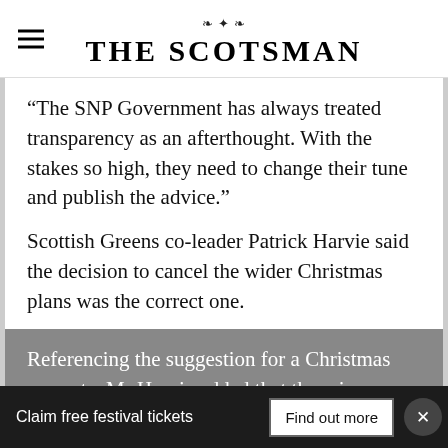THE SCOTSMAN
“The SNP Government has always treated transparency as an afterthought. With the stakes so high, they need to change their tune and publish the advice.”
Scottish Greens co-leader Patrick Harvie said the decision to cancel the wider Christmas plans was the correct one.
Referencing the suggestion for a Christmas amnesty, Mr Harvie added that there is no
Claim free festival tickets   Find out more